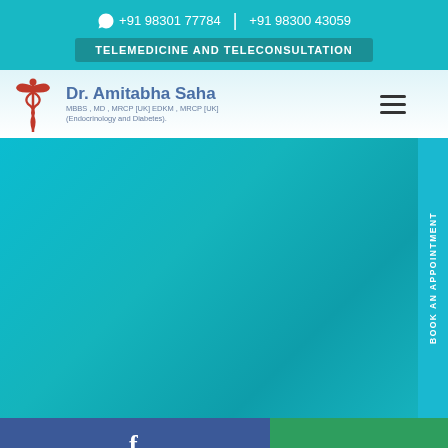+91 98301 77784 | +91 98300 43059
TELEMEDICINE AND TELECONSULTATION
[Figure (logo): Medical caduceus logo with Dr. Amitabha Saha name and credentials]
Dr. Amitabha Saha
MBBS , MD , MRCP [UK] EDKM , MRCP [UK] (Endocrinology and Diabetes).
BOOK AN APPOINTMENT
[Figure (illustration): Teal/cyan gradient hero background area]
[Figure (logo): Facebook social icon in blue bar at bottom]